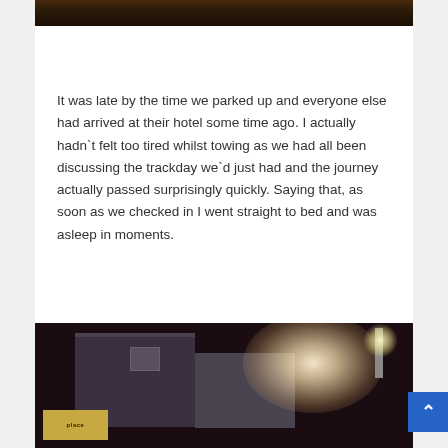[Figure (photo): Partial photo at top of page, dark image showing hands or objects on a table]
It was late by the time we parked up and everyone else had arrived at their hotel some time ago. I actually hadn`t felt too tired whilst towing as we had all been discussing the trackday we`d just had and the journey actually passed surprisingly quickly. Saying that, as soon as we checked in I went straight to bed and was asleep in moments.
[Figure (photo): Nighttime photo of a building exterior with bright glowing light source, a sign reading 'place' partially visible at lower left, dark sky background]